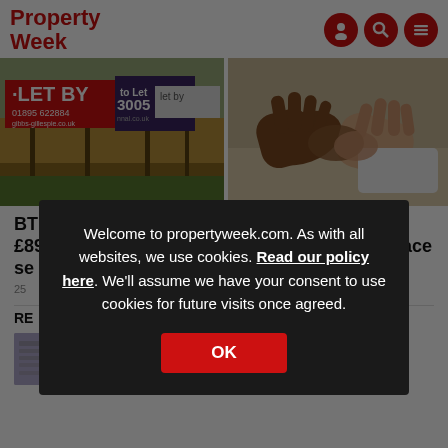Property Week
[Figure (photo): Let By estate agent boards/signs photographed outdoors against a wooden fence background]
[Figure (photo): Two people shaking hands, one with darker skin tone and one lighter, over papers on a table]
BTR sectors attracts £890m of investment in se...
US engineering firm takes Farringdon space for
25...
RE
[Figure (photo): Thumbnail image – appears to show papers/documents, purple toned]
Three ways to position your development business
15 Jun 22
Welcome to propertyweek.com. As with all websites, we use cookies. Read our policy here. We'll assume we have your consent to use cookies for future visits once agreed.